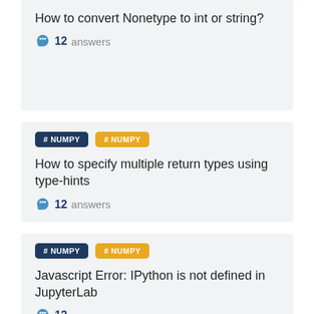How to convert Nonetype to int or string?
12 answers
#NUMPY #NUMPY
How to specify multiple return types using type-hints
12 answers
#NUMPY #NUMPY
Javascript Error: IPython is not defined in JupyterLab
12 answers
All questions
News